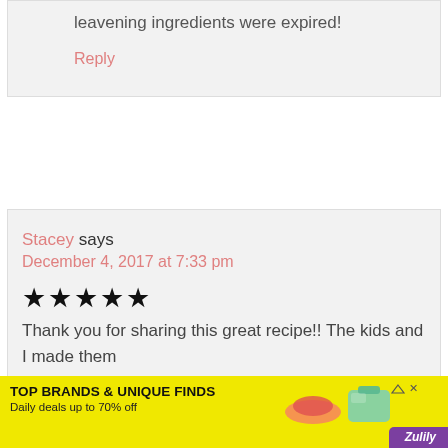leavening ingredients were expired!
Reply
Stacey says
December 4, 2017 at 7:33 pm
[Figure (other): 5 filled star rating icons]
Thank you for sharing this great recipe!! The kids and I made them
[Figure (other): Advertisement banner: TOP BRANDS & UNIQUE FINDS, Daily deals up to 70% off, Zulily]